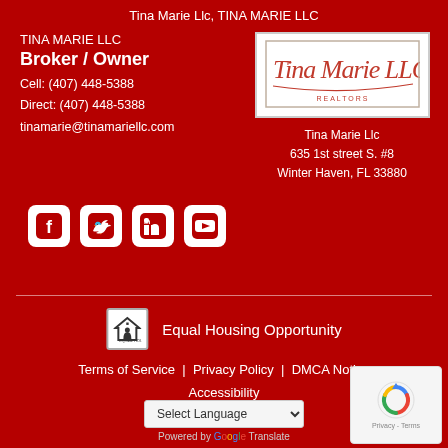Tina Marie Llc, TINA MARIE LLC
TINA MARIE LLC
Broker / Owner
Cell: (407) 448-5388
Direct: (407) 448-5388
tinamarie@tinamariellc.com
[Figure (logo): Tina Marie LLC Realtors logo with cursive script on white background]
Tina Marie Llc
635 1st street S. #8
Winter Haven, FL 33880
[Figure (infographic): Social media icons: Facebook, Twitter, LinkedIn, YouTube — white icons on white rounded-square backgrounds]
Equal Housing Opportunity
Terms of Service  |  Privacy Policy  |  DMCA Notice
Accessibility
Select Language
Powered by Google Translate